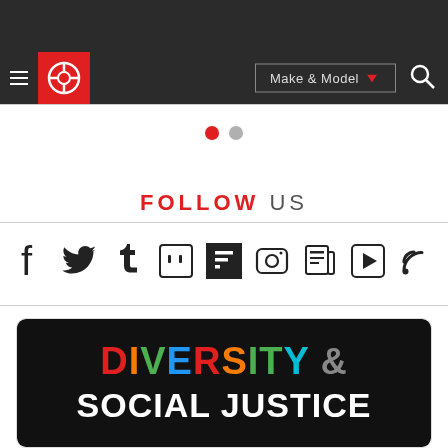[Figure (screenshot): Website navigation bar with hamburger menu, red circular logo, Make & Model dropdown button, and search icon on dark background]
FOLLOW US
[Figure (infographic): Row of social media icons: Facebook, Twitter, Tumblr, Twitch, Flipboard, Instagram, News, Play, RSS]
[Figure (infographic): Black banner with colorful text reading DIVERSITY & SOCIAL JUSTICE]